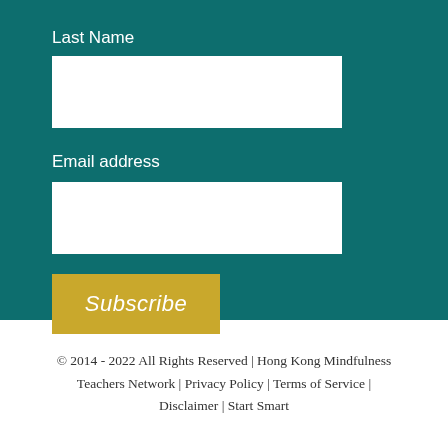Last Name
Email address
Subscribe
© 2014 - 2022 All Rights Reserved | Hong Kong Mindfulness Teachers Network | Privacy Policy | Terms of Service | Disclaimer | Start Smart